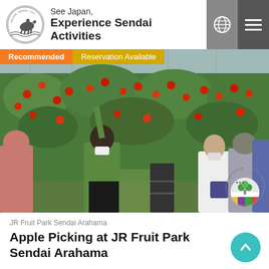See Japan, Experience Sendai Activities
[Figure (photo): People picking apples inside a greenhouse orchard at JR Fruit Park Sendai Arahama. Apple trees full of red apples line the aisle. Several visitors wearing masks are reaching up to pick apples. Badge overlays: 'Recommended' in orange and 'Reservation Available' in yellow. JR Fruit Park logo in bottom right corner.]
JR Fruit Park Sendai Arahama
Apple Picking at JR Fruit Park Sendai Arahama